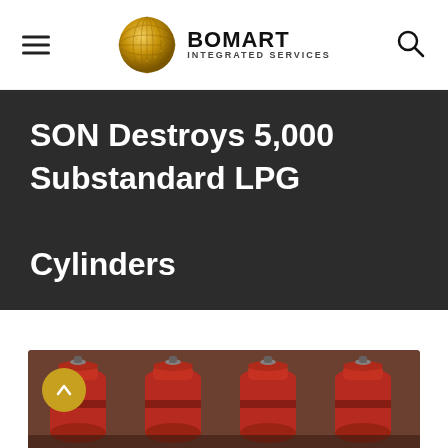BOMART INTEGRATED SERVICES
SON Destroys 5,000 Substandard LPG Cylinders
[Figure (photo): Row of red LPG gas cylinders closely packed together, viewed from above at an angle]